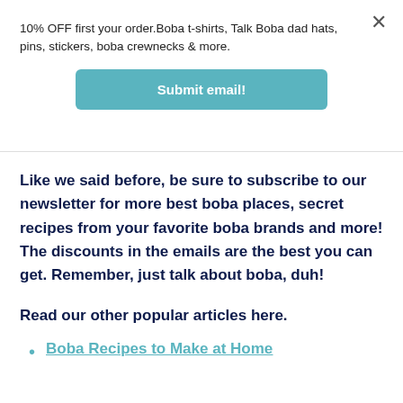10% OFF first your order.Boba t-shirts, Talk Boba dad hats, pins, stickers, boba crewnecks & more.
[Figure (other): Submit email button - teal/cyan rounded rectangle button with white bold text 'Submit email!']
Like we said before, be sure to subscribe to our newsletter for more best boba places, secret recipes from your favorite boba brands and more! The discounts in the emails are the best you can get. Remember, just talk about boba, duh!
Read our other popular articles here.
Boba Recipes to Make at Home